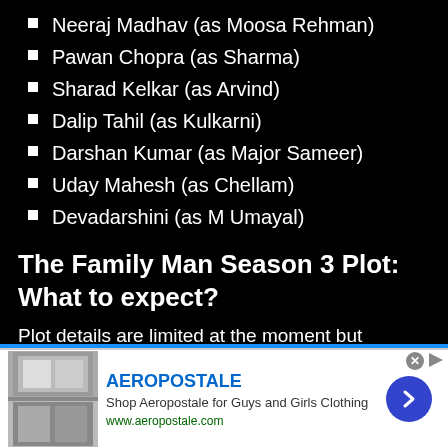Neeraj Madhav (as Moosa Rehman)
Pawan Chopra (as Sharma)
Sharad Kelkar (as Arvind)
Dalip Tahil (as Kulkarni)
Darshan Kumar (as Major Sameer)
Uday Mahesh (as Chellam)
Devadarshini (as M Umayal)
The Family Man Season 3 Plot: What to expect?
Plot details are limited at the moment but according to various sources the forthcoming season will be set
[Figure (screenshot): Aeropostale advertisement banner at the bottom of the page showing brand name, tagline 'Shop Aeropostale for Guys and Girls Clothing', URL www.aeropostale.com, clothing images, and a blue arrow button]